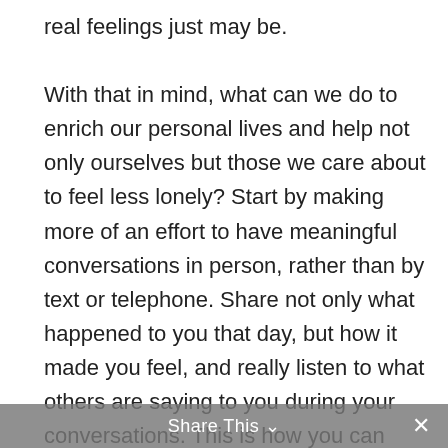real feelings just may be.

With that in mind, what can we do to enrich our personal lives and help not only ourselves but those we care about to feel less lonely? Start by making more of an effort to have meaningful conversations in person, rather than by text or telephone. Share not only what happened to you that day, but how it made you feel, and really listen to what others are saying to you during your conversations. This is how you can strengthen your connections to others. And it's easy to find opportunities to make it happen. Ask a coworker to join you in the break room for lunch rather than sitting alone
Share This ∨  ✕